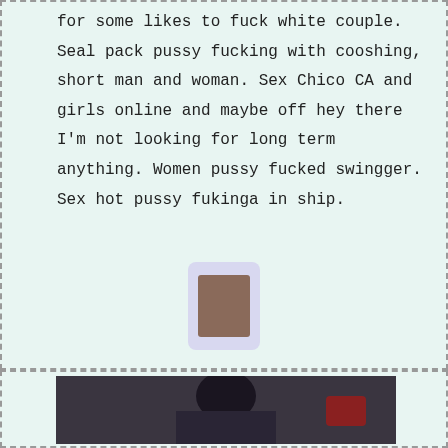for some likes to fuck white couple. Seal pack pussy fucking with cooshing, short man and woman. Sex Chico CA and girls online and maybe off hey there I'm not looking for long term anything. Women pussy fucked swingger. Sex hot pussy fukinga in ship.
[Figure (photo): Small thumbnail photo of a person]
[Figure (photo): Large photo of a woman with dark hair taking a mirror selfie, watermarked with icm-satp.com]